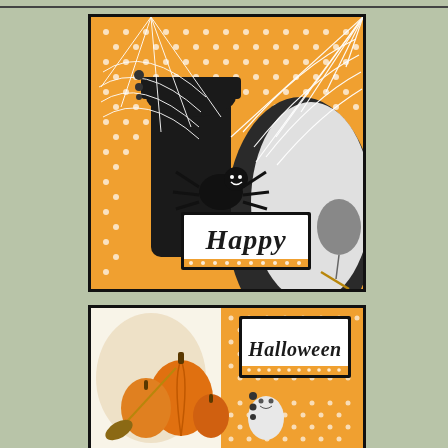[Figure (photo): Halloween craft card featuring orange polka-dot paper background with black and white spider web die-cut in corner, black spider figure with smiley face, ghost silhouette shape, black balloon, and a sign reading 'Happy' in Halloween font, framed with black border]
[Figure (photo): Partial view of a second Halloween card showing pumpkins, broom, ghost figure, and a sign reading 'Halloween' in Halloween font on orange polka-dot paper, framed with black border]